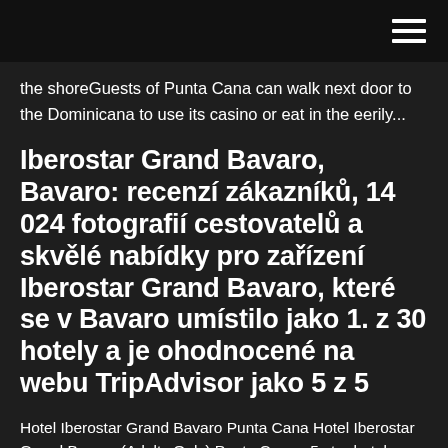the shoreGuests of Punta Cana can walk next door to the Dominicana to use its casino or eat in the eerily...
Iberostar Grand Bavaro, Bavaro: recenzí zákazníků, 14 024 fotografií cestovatelů a skvělé nabídky pro zařízení Iberostar Grand Bavaro, které se v Bavaro umístilo jako 1. z 30 hotely a je ohodnocené na webu TripAdvisor jako 5 z 5
Hotel Iberostar Grand Bavaro Punta Cana Hotel Iberostar Grand Bavaro (Adults Only) Punta Cana - 5 star hotel